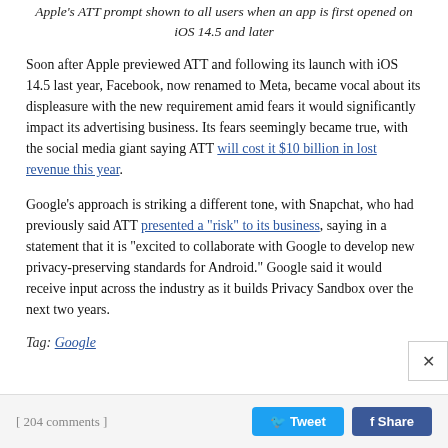Apple's ATT prompt shown to all users when an app is first opened on iOS 14.5 and later
Soon after Apple previewed ATT and following its launch with iOS 14.5 last year, Facebook, now renamed to Meta, became vocal about its displeasure with the new requirement amid fears it would significantly impact its advertising business. Its fears seemingly became true, with the social media giant saying ATT will cost it $10 billion in lost revenue this year.
Google's approach is striking a different tone, with Snapchat, who had previously said ATT presented a "risk" to its business, saying in a statement that it is "excited to collaborate with Google to develop new privacy-preserving standards for Android." Google said it would receive input across the industry as it builds Privacy Sandbox over the next two years.
Tag: Google
[ 204 comments ]   Tweet   Share